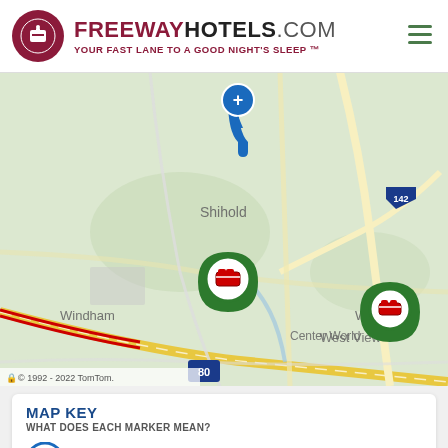FREEWAYHOTELS.COM YOUR FAST LANE TO A GOOD NIGHT'S SLEEP ™
[Figure (map): Road map showing locations near Shihold, Windham, Center World, West View, and Warrer. Two hotel markers (green pins with bed icons) are visible near Interstate 80 and near route 142 by Warrer. A reference marker (blue pin with plus icon) is visible near the top center.]
© 1992 - 2022 TomTom.
MAP KEY
WHAT DOES EACH MARKER MEAN?
Reference Marker — CENTER POINT OF THE SEARCH
Hotel Marker — DENOTES HOTEL LOCATION
Hotel Matches My Brand — MATCHES YOUR CHOSEN BRAND
Matches All My Amenities — HOTEL HAS ALL YOUR CHOSEN AMENITIES